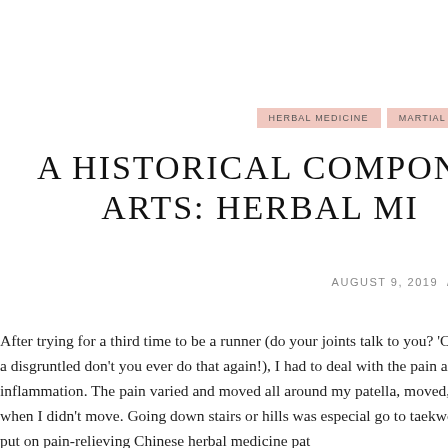HERBAL MEDICINE   MARTIAL
A HISTORICAL COMPONE
ARTS: HERBAL MI
AUGUST 9, 2019  /  BY CARR
After trying for a third time to be a runner (do your joints talk to you? 'Caus piped up a disgruntled don't you ever do that again!), I had to deal with the pain and inflammation. The pain varied and moved all around my patella, moved, hurting when I didn't move. Going down stairs or hills was especial go to taekwondo class I put on pain-relieving Chinese herbal medicine pat